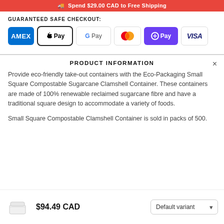🚚 Spend $29.00 CAD to Free Shipping
GUARANTEED SAFE CHECKOUT:
[Figure (logo): Payment method logos: American Express (AMEX), Apple Pay, Google Pay, Mastercard, OPay, VISA]
PRODUCT INFORMATION
Provide eco-friendly take-out containers with the Eco-Packaging Small Square Compostable Sugarcane Clamshell Container. These containers are made of 100% renewable reclaimed sugarcane fibre and have a traditional square design to accommodate a variety of foods.
Small Square Compostable Clamshell Container is sold in packs of 500.
[Figure (photo): Small white clamshell container product thumbnail]
$94.49 CAD
Default variant